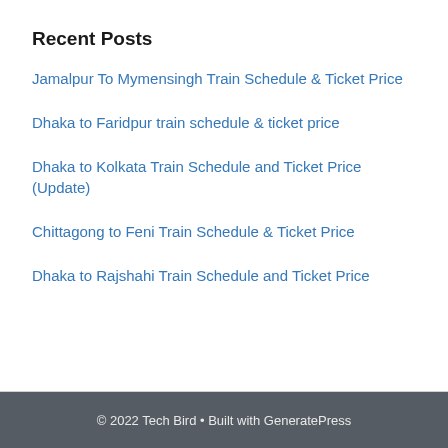Recent Posts
Jamalpur To Mymensingh Train Schedule & Ticket Price
Dhaka to Faridpur train schedule & ticket price
Dhaka to Kolkata Train Schedule and Ticket Price (Update)
Chittagong to Feni Train Schedule & Ticket Price
Dhaka to Rajshahi Train Schedule and Ticket Price
© 2022 Tech Bird • Built with GeneratePress